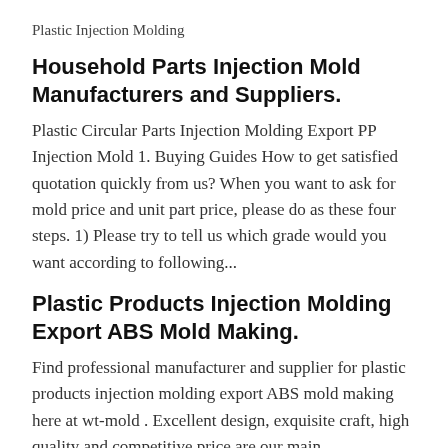Plastic Injection Molding
Household Parts Injection Mold Manufacturers and Suppliers.
Plastic Circular Parts Injection Molding Export PP Injection Mold 1. Buying Guides How to get satisfied quotation quickly from us? When you want to ask for mold price and unit part price, please do as these four steps. 1) Please try to tell us which grade would you want according to following...
Plastic Products Injection Molding Export ABS Mold Making.
Find professional manufacturer and supplier for plastic products injection molding export ABS mold making here at wt-mold . Excellent design, exquisite craft, high quality and competitive price are our main characteristics. Please rest assured to buy our quality products. Catering